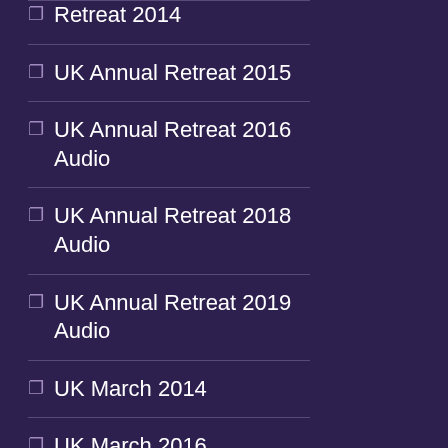Retreat 2014
UK Annual Retreat 2015
UK Annual Retreat 2016 Audio
UK Annual Retreat 2018 Audio
UK Annual Retreat 2019 Audio
UK March 2014
UK March 2016